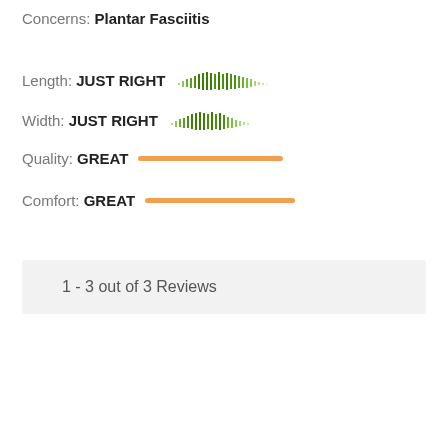Concerns: Plantar Fasciitis
Length: JUST RIGHT
Width: JUST RIGHT
Quality: GREAT
Comfort: GREAT
1 - 3 out of 3 Reviews